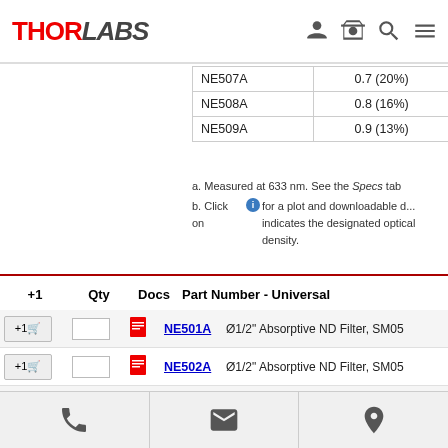THORLABS
| Part Number | OD (Transmission) |
| --- | --- |
| NE507A | 0.7 (20%) |
| NE508A | 0.8 (16%) |
| NE509A | 0.9 (13%) |
a. Measured at 633 nm. See the Specs tab
b. Click on [i] for a plot and downloadable data. The value in parentheses indicates the designated optical density.
| +1 | Qty | Docs | Part Number - Universal |
| --- | --- | --- | --- |
| +1 |  |  | NE501A | Ø1/2" Absorptive ND Filter, SM05 |
| +1 |  |  | NE502A | Ø1/2" Absorptive ND Filter, SM05 |
| +1 |  |  | NE503A | Ø1/2" Absorptive ND Filter, SM05 |
| +1 |  |  | NE504A | Ø1/2" Absorptive ND Filter, SM05 |
| +1 |  |  | NE505A | Ø1/2" Absorptive ND Filter, SM05 |
| +1 |  |  | NE506A | Ø1/2" Absorptive ND Filter, SM05 |
| +1 |  |  | NE507A | Ø1/2" Absorptive ND Filter, SM05 |
Phone | Email | Location